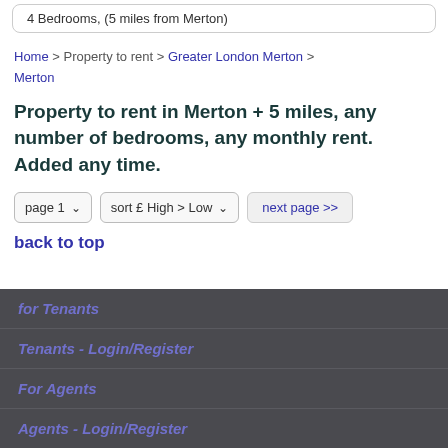4 Bedrooms, (5 miles from Merton)
Home > Property to rent > Greater London Merton > Merton
Property to rent in Merton + 5 miles, any number of bedrooms, any monthly rent. Added any time.
page 1  sort £ High > Low  next page >>
back to top
for Tenants
Tenants - Login/Register
For Agents
Agents - Login/Register